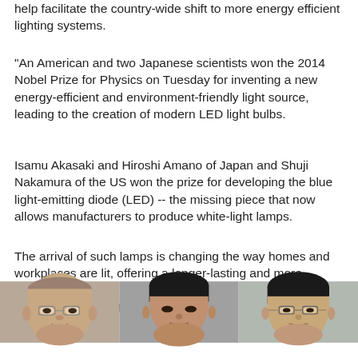help facilitate the country-wide shift to more energy efficient lighting systems.
"An American and two Japanese scientists won the 2014 Nobel Prize for Physics on Tuesday for inventing a new energy-efficient and environment-friendly light source, leading to the creation of modern LED light bulbs.
Isamu Akasaki and Hiroshi Amano of Japan and Shuji Nakamura of the US won the prize for developing the blue light-emitting diode (LED) -- the missing piece that now allows manufacturers to produce white-light lamps.
The arrival of such lamps is changing the way homes and workplaces are lit, offering a longer-lasting and more efficient alternative to the incandescent bulbs pioneered by Joseph Swan and Thomas Edison at the end of the 19th century."
[Figure (photo): Three headshot photos of the Nobel Prize winners: Isamu Akasaki (elderly Japanese man with glasses), Hiroshi Amano (middle-aged Japanese man), and Shuji Nakamura (Japanese man with glasses)]